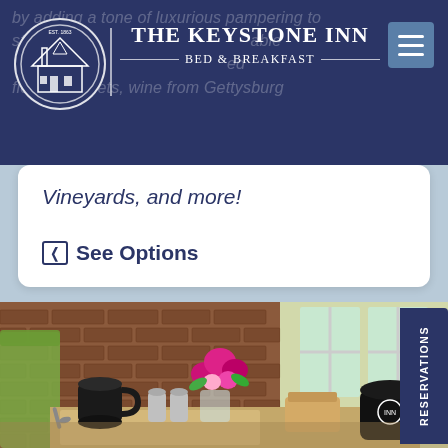THE KEYSTONE INN BED & BREAKFAST
Vineyards, and more!
❐ See Options
[Figure (photo): Breakfast table scene with black coffee mugs, glass vase with pink and magenta flowers, salt and pepper shakers, condiment holder, set against a brick wall and window background]